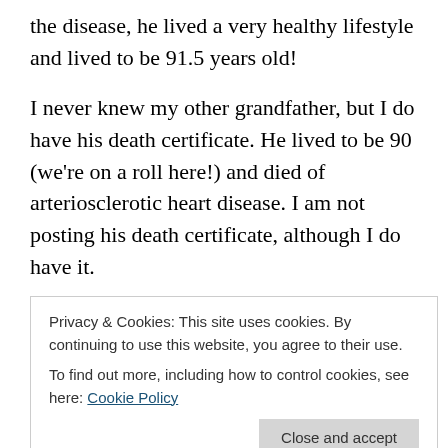the disease, he lived a very healthy lifestyle and lived to be 91.5 years old!
I never knew my other grandfather, but I do have his death certificate. He lived to be 90 (we're on a roll here!) and died of arteriosclerotic heart disease. I am not posting his death certificate, although I do have it.
Then, of my four great-grandfathers, I have the death certificates of three. The one I don't have is my paternal grandfather's father because I don't even know if he immigrated from Alsace to the United States or not, and
Privacy & Cookies: This site uses cookies. By continuing to use this website, you agree to their use.
To find out more, including how to control cookies, see here: Cookie Policy
Close and accept
Analytical Chronicles title should here some more text